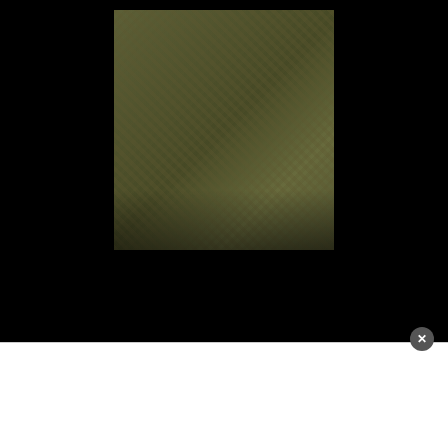[Figure (photo): Photo of soldiers in camouflage uniforms standing together]
Gogol Bordello Played Secret Show for Ukrainian Soldiers
August 24, 2022
[Figure (photo): Dark concert photo with pink and purple stage lighting illuminating a performer or crowd]
[Figure (screenshot): White popup/ad overlay with close button (x) in bottom portion of page]